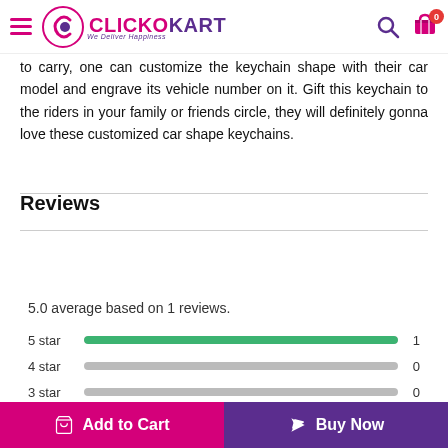ClickoKart - We Deliver Happiness
to carry, one can customize the keychain shape with their car model and engrave its vehicle number on it. Gift this keychain to the riders in your family or friends circle, they will definitely gonna love these customized car shape keychains.
Reviews
[Figure (infographic): Rating summary showing 5.0 star rating badge, five pink stars with '1 Review', text '5.0 average based on 1 reviews.', and star distribution bars: 5 star=1, 4 star=0, 3 star=0, 2 star=0]
Add to Cart | Buy Now